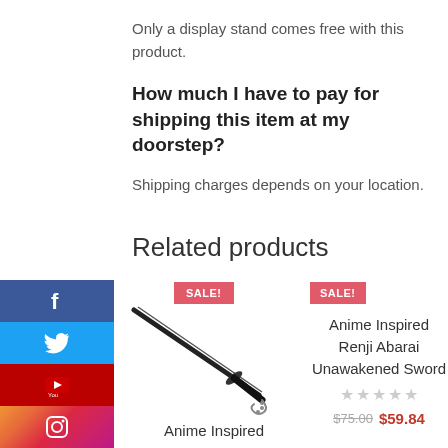Only a display stand comes free with this product.
How much I have to pay for shipping this item at my doorstep?
Shipping charges depends on your location.
Related products
[Figure (photo): Anime inspired sword with black blade and chain guard, displayed diagonally with a SALE! badge]
Anime Inspired
[Figure (other): Product card with SALE! badge for Anime Inspired Renji Abarai Unawakened Sword with star rating and price]
Anime Inspired Renji Abarai Unawakened Sword
$75.00  $59.84